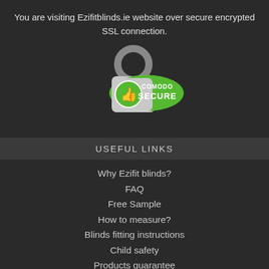You are visiting Ezifitblinds.ie website over secure encrypted SSL connection.
[Figure (logo): Comodo Secure badge with padlock and thumbs up icon, green oval shape with COMODO SECURE text]
USEFUL LINKS
Why Ezifit blinds?
FAQ
Free Sample
How to measure?
Blinds fitting instructions
Child safety
Products guarantee
Quality assurance
What our costumers say?
WINDOW BLINDS GALLERY
Galle
LIVE CHAT